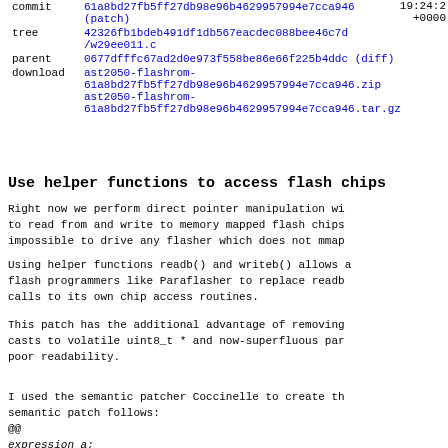19:24:2
+0000
| commit | 61a8bd27fb5ff27db98e96b4629957994e7cca946
(patch) |
| tree | 42326fb1bdeb491df1db567eacdec088bee46c7d
/w29ee011.c |
| parent | 0677dfffc67ad2d0e973f558be86e66f225b4ddc (diff) |
| download | ast2050-flashrom-61a8bd27fb5ff27db98e96b4629957994e7cca946.zip
ast2050-flashrom-61a8bd27fb5ff27db98e96b4629957994e7cca946.tar.gz |
Use helper functions to access flash chips
Right now we perform direct pointer manipulation wi to read from and write to memory mapped flash chips impossible to drive any flasher which does not mmap
Using helper functions readb() and writeb() allows a flash programmers like Paraflasher to replace readb calls to its own chip access routines.
This patch has the additional advantage of removing casts to volatile uint8_t * and now-superfluous par poor readability.
I used the semantic patcher Coccinelle to create th semantic patch follows:
@@
expression a;